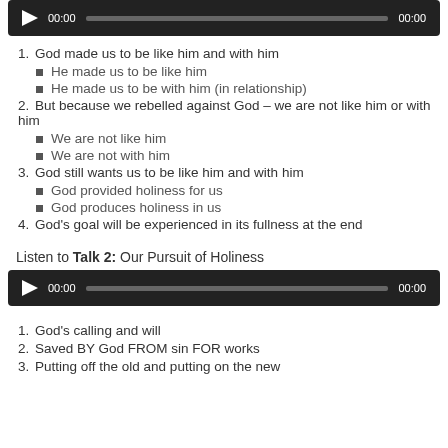[Figure (other): Audio player with play button, timestamp 00:00, progress bar, and end time 00:00]
1. God made us to be like him and with him
He made us to be like him
He made us to be with him (in relationship)
2. But because we rebelled against God – we are not like him or with him
We are not like him
We are not with him
3. God still wants us to be like him and with him
God provided holiness for us
God produces holiness in us
4. God's goal will be experienced in its fullness at the end
Listen to Talk 2: Our Pursuit of Holiness
[Figure (other): Audio player with play button, timestamp 00:00, progress bar, and end time 00:00]
1. God's calling and will
2. Saved BY God FROM sin FOR works
3. Putting off the old and putting on the new